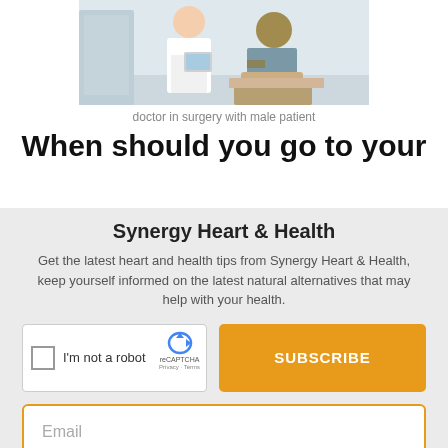[Figure (photo): Doctor in surgery with male patient — a doctor in a white coat holds a tablet while consulting with a seated male patient]
doctor in surgery with male patient
When should you go to your
Synergy Heart & Health
Get the latest heart and health tips from Synergy Heart & Health, keep yourself informed on the latest natural alternatives that may help with your health.
[Figure (screenshot): reCAPTCHA widget with checkbox and 'I'm not a robot' label]
SUBSCRIBE
Email
No thanks, I'm not interested